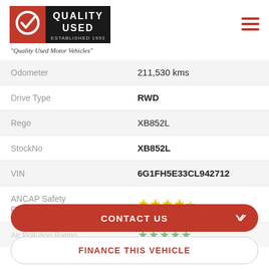[Figure (logo): Quality Used Motor Vehicles logo - red and black logo with Q checkmark, text QUALITY USED ESTABLISHED 1993]
"Quality Used Motor Vehicles"
| Field | Value |
| --- | --- |
| Odometer | 211,530 kms |
| Drive Type | RWD |
| Rego | XB852L |
| StockNo | XB852L |
| VIN | 6G1FH5E33CL942712 |
| ANCAP Safety Rating | ★★★★½ |
| Air Pollution Rating | (green stars) |
| Green Guide Rating | (green stars) |
CONTACT US
FINANCE THIS VEHICLE